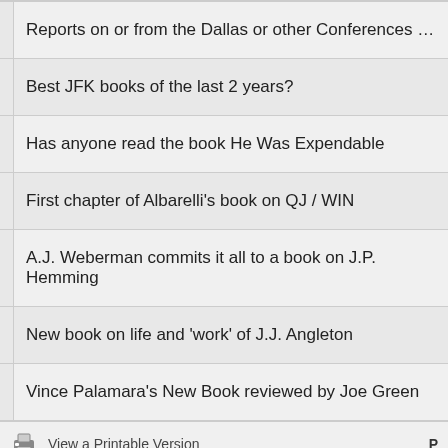| Reports on or from the Dallas or other Conferences Re: November 22 – |
| Best JFK books of the last 2 years? |
| Has anyone read the book He Was Expendable |
| First chapter of Albarelli's book on QJ / WIN |
| A.J. Weberman commits it all to a book on J.P. Hemming |
| New book on life and 'work' of J.J. Angleton |
| Vince Palamara's New Book reviewed by Joe Green |
View a Printable Version
Users browsing this thread: 1 Guest(s)
Forum Team   Contact Us   Deep Politics Forum   Return to Top   Lite (Archive)
Powered By MyBB, © 2002-2022 MyBB Group.